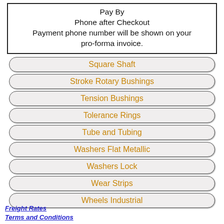Pay By Phone after Checkout Payment phone number will be shown on your pro-forma invoice.
Square Shaft
Stroke Rotary Bushings
Tension Bushings
Tolerance Rings
Tube and Tubing
Washers Flat Metallic
Washers Lock
Wear Strips
Wheels Industrial
Freight Rates
Terms and Conditions